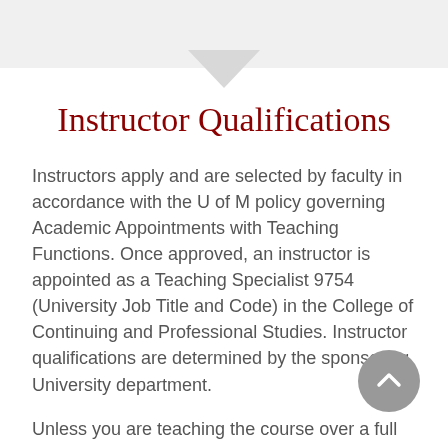Instructor Qualifications
Instructors apply and are selected by faculty in accordance with the U of M policy governing Academic Appointments with Teaching Functions. Once approved, an instructor is appointed as a Teaching Specialist 9754 (University Job Title and Code) in the College of Continuing and Professional Studies. Instructor qualifications are determined by the sponsoring University department.
Unless you are teaching the course over a full 15-week semester or longer, teachers